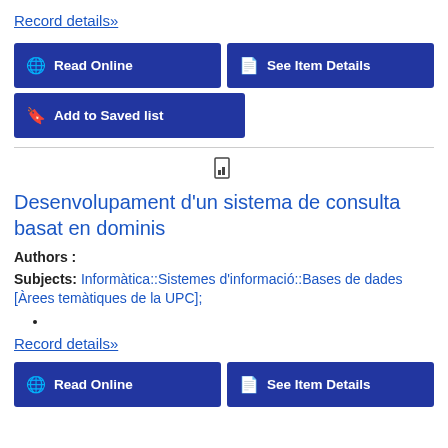Record details»
🌐 Read Online
📄 See Item Details
🔖 Add to Saved list
Desenvolupament d'un sistema de consulta basat en dominis
Authors :
Subjects: Informàtica::Sistemes d'informació::Bases de dades [Àrees temàtiques de la UPC];
Record details»
🌐 Read Online
📄 See Item Details